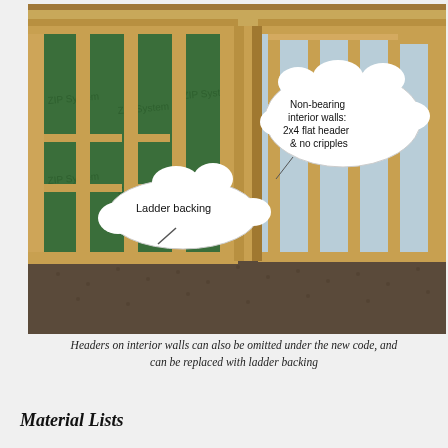[Figure (illustration): 3D illustration of interior wall framing showing wood studs, green ZIP System sheathing on exterior wall, and interior non-bearing wall framing. Two speech-bubble callouts label 'Ladder backing' (lower left area) and 'Non-bearing interior walls: 2x4 flat header & no cripples' (upper right area).]
Headers on interior walls can also be omitted under the new code, and can be replaced with ladder backing
Material Lists